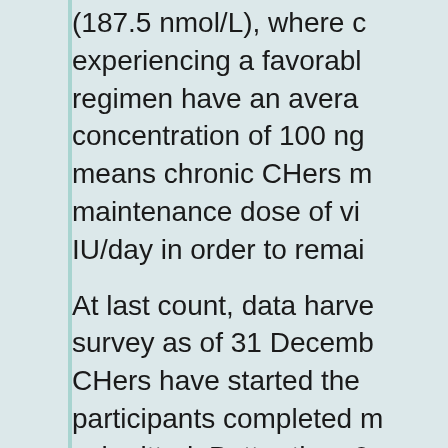(187.5 nmol/L), where c experiencing a favorabl regimen have an avera concentration of 100 ng means chronic CHers m maintenance dose of vi IU/day in order to remai
At last count, data harve survey as of 31 Decemb CHers have started the participants completed m submitted. Better than 8 a significant reduction in and duration of their CH these 215 CHers experi